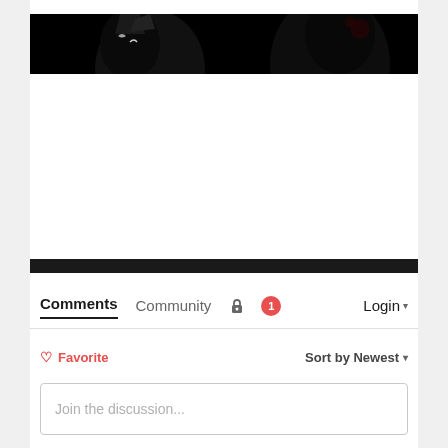[Figure (photo): Dark banner image showing anime-style character silhouettes against a black background]
[Figure (other): Black horizontal bar / divider]
Comments  Community  🔒  1  Login ▾
♡ Favorite   Sort by Newest ▾
Join the discussion...